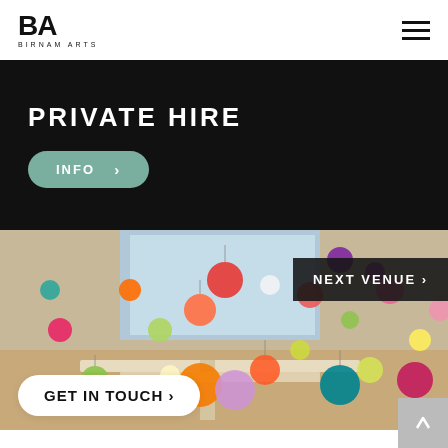BA BIRNAM ARTS
PRIVATE HIRE
INFO >
[Figure (photo): Interior of a venue decorated with colourful paper lanterns hanging from the ceiling, with long banquet tables set for an event below.]
NEXT VENUE >
GET IN TOUCH >